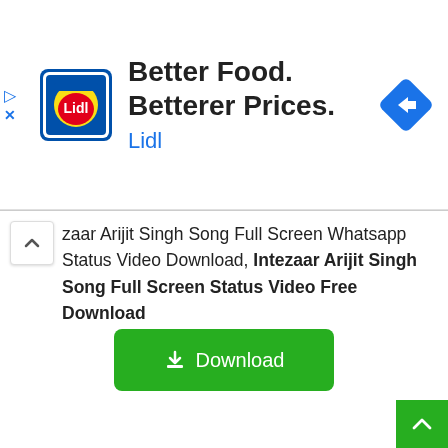[Figure (screenshot): Lidl advertisement banner with Lidl logo, text 'Better Food. Betterer Prices.' and 'Lidl', plus a blue navigation diamond icon on the right. Small play and X icons on the left edge.]
zaar Arijit Singh Song Full Screen Whatsapp Status Video Download, Intezaar Arijit Singh Song Full Screen Status Video Free Download
[Figure (infographic): Green Download button with download icon and text 'Download']
[Figure (infographic): Green scroll-to-top button with upward chevron arrow at bottom right corner]